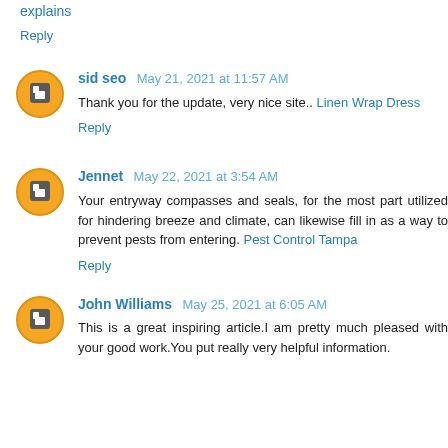explains
Reply
sid seo May 21, 2021 at 11:57 AM
Thank you for the update, very nice site.. Linen Wrap Dress
Reply
Jennet May 22, 2021 at 3:54 AM
Your entryway compasses and seals, for the most part utilized for hindering breeze and climate, can likewise fill in as a way to prevent pests from entering. Pest Control Tampa
Reply
John Williams May 25, 2021 at 6:05 AM
This is a great inspiring article.I am pretty much pleased with your good work.You put really very helpful information.